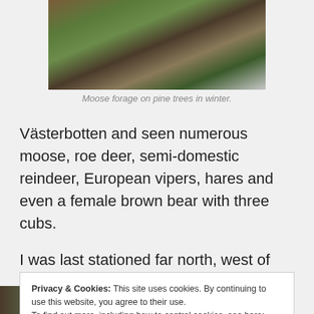[Figure (photo): Partial view of a forest floor with moss, lichen, and heather vegetation, possibly with a moose partially visible at top.]
Moose forage on pine trees in winter.
Västerbotten and seen numerous moose, roe deer, semi-domestic reindeer, European vipers, hares and even a female brown bear with three cubs.
I was last stationed far north, west of Skellefteå – and
Privacy & Cookies: This site uses cookies. By continuing to use this website, you agree to their use.
To find out more, including how to control cookies, see here: Cookie Policy
[Figure (photo): Strip of forest/nature thumbnail images along the bottom of the page.]
home. It